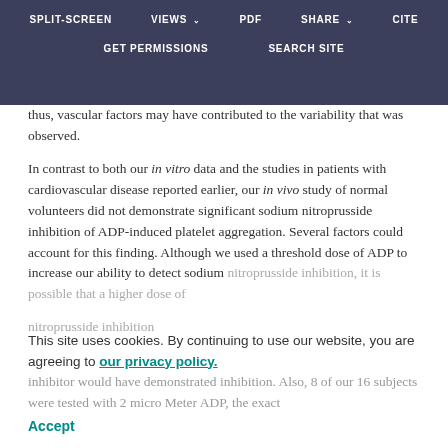SPLIT-SCREEN  VIEWS  PDF  SHARE  CITE  GET PERMISSIONS  SEARCH SITE
thus, vascular factors may have contributed to the variability that was observed.
In contrast to both our in vitro data and the studies in patients with cardiovascular disease reported earlier, our in vivo study of normal volunteers did not demonstrate significant sodium nitroprusside inhibition of ADP-induced platelet aggregation. Several factors could account for this finding. Although we used a threshold dose of ADP to increase our ability to detect sodium nitroprusside inhibition, it is possible that a higher dose of inhibitor would have demonstrated inhibition. Also, 8 of our 16 subjects were tested with 2 micro Meter ADP, the exact
This site uses cookies. By continuing to use our website, you are agreeing to our privacy policy. Accept